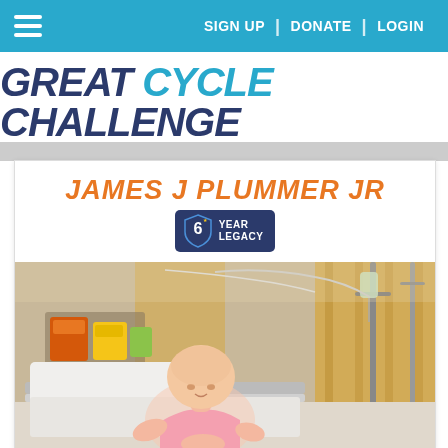≡   SIGN UP | DONATE | LOGIN
GREAT CYCLE CHALLENGE
JAMES J PLUMMER JR
6 YEAR LEGACY
[Figure (photo): A young bald child (patient) in a hospital bed or chair, wearing a pink top, leaning forward. Hospital equipment including IV poles, tubing, curtains, and snacks visible in the background.]